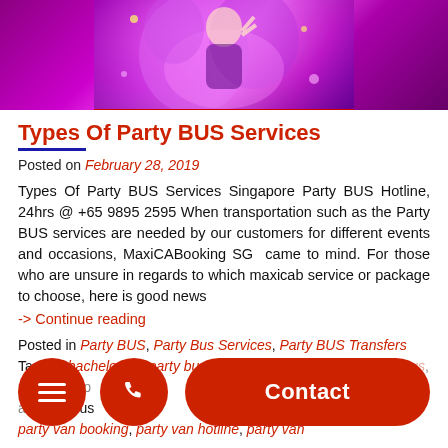[Figure (photo): Party scene with people celebrating under purple/pink lighting, person making peace sign gesture]
Types Of Party BUS Services
Posted on February 28, 2019
Types Of Party BUS Services Singapore Party BUS Hotline, 24hrs @ +65 9895 2595 When transportation such as the Party BUS services are needed by our customers for different events and occasions, MaxiCABooking SG  came to mind. For those who are unsure in regards to which maxicab service or package to choose, here is good news
-> Continue reading
Posted in Party BUS, Party Bus Services, Party BUS Transfers Tagged bachelorette party bus, birthday party van, book party bus, party van, party van booking, party van hotline, party van